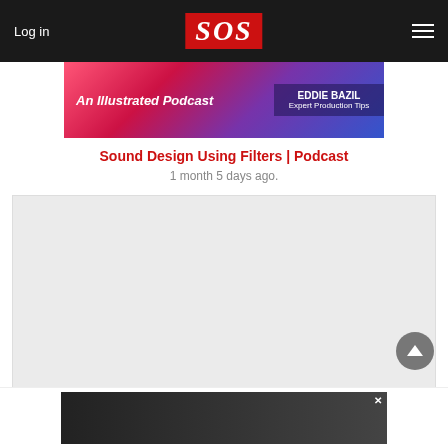Log in | SOS | Menu
[Figure (illustration): An Illustrated Podcast banner with EDDIE BAZIL Expert Production Tips, colorful gradient background]
Sound Design Using Filters | Podcast
1 month 5 days ago.
[Figure (other): Large light gray content placeholder box]
[Figure (other): Back to top circular button with upward arrow]
[Figure (other): Bottom advertisement bar, dark background]